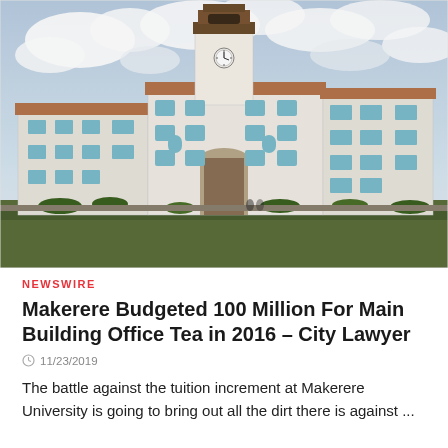[Figure (photo): Photograph of Makerere University Main Building with a clock tower, white facade, blue shuttered windows, and cloudy sky background.]
NEWSWIRE
Makerere Budgeted 100 Million For Main Building Office Tea in 2016 – City Lawyer
11/23/2019
The battle against the tuition increment at Makerere University is going to bring out all the dirt there is against ...